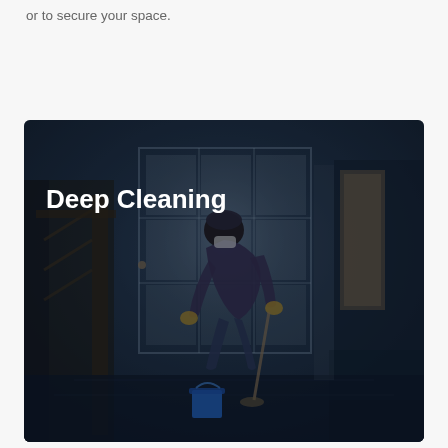or to secure your space.
[Figure (photo): A person wearing a mask mopping the floor of a home entryway/hallway with a blue bucket nearby. The scene is dark-toned. The text 'Deep Cleaning' appears in bold white over the image.]